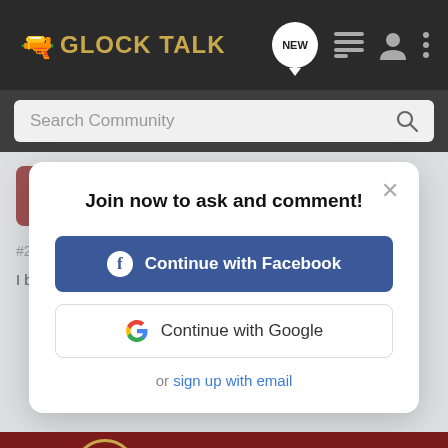GLOCK TALK
Search Community
FCastle88 · Registered
Joined Sep 24, 2009 · 2,576 Posts
Join now to ask and comment!
Continue with Facebook
Continue with Google
or sign up with email
I believe... he LEO only, I've... n and most on... find
[Figure (screenshot): Cabela's Bargain Cave Hunting Clearance advertisement banner with SHOP NOW button]